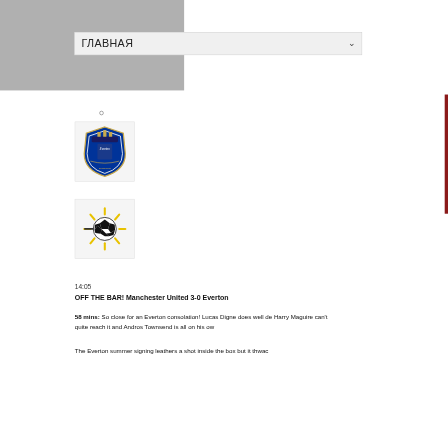ГЛАВНАЯ
[Figure (logo): Everton FC club crest logo on light background]
[Figure (illustration): Soccer ball with sun rays / shot icon illustration]
14:05
OFF THE BAR! Manchester United 3-0 Everton
58 mins: So close for an Everton consolation! Lucas Digne does well de Harry Maguire can't quite reach it and Andros Townsend is all on his ow
The Everton summer signing leathers a shot inside the box but it thwac